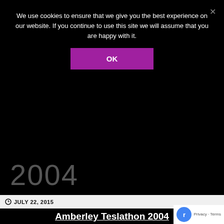We use cookies to ensure that we give you the best experience on our website. If you continue to use this site we will assume that you are happy with it.
OK
2004
JULY 22, 2015
Amberley Teslathon 2004
[Figure (photo): Photo of a Tesla coil arcing in a darkened room - Adrians Fretwells Coil Power arcing to a strike pole.]
Adrians Fretwells Coil Power arcing to a strike pole.
[Figure (photo): Long exposure photo of Adrians coil doing its thing with bright arcs visible.]
A long exposure of Adrians coil doing its
[Figure (photo): Photo showing large purple arcs - Arcs to at least 42 inches.]
Arcs to at least 42"
[Figure (photo): Photo of equipment setup at the Teslathon event - Adrian]
Adrian